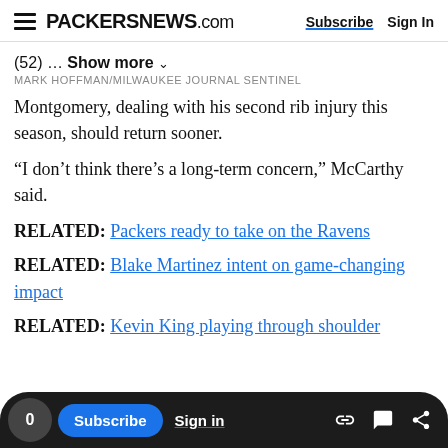PACKERSNEWS.com  Subscribe  Sign In
(52) ... Show more
MARK HOFFMAN/MILWAUKEE JOURNAL SENTINEL
Montgomery, dealing with his second rib injury this season, should return sooner.
“I don’t think there’s a long-term concern,” McCarthy said.
RELATED: Packers ready to take on the Ravens
RELATED: Blake Martinez intent on game-changing impact
RELATED: Kevin King playing through shoulder
The Packers drafted three running backs this